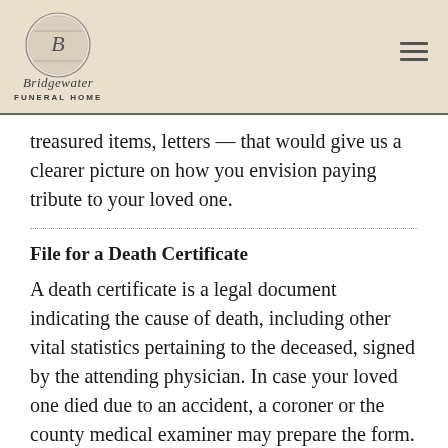Bridgewater Funeral Home
treasured items, letters — that would give us a clearer picture on how you envision paying tribute to your loved one.
File for a Death Certificate
A death certificate is a legal document indicating the cause of death, including other vital statistics pertaining to the deceased, signed by the attending physician. In case your loved one died due to an accident, a coroner or the county medical examiner may prepare the form. If you